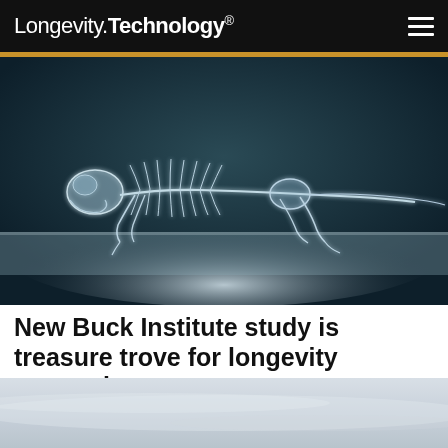Longevity.Technology®
[Figure (photo): X-ray or CT scan style image of a rodent (mouse or rat) skeleton lying on its side against a dark teal/navy background, viewed from above and slightly to the side. The skeleton glows white/blue-white.]
New Buck Institute study is treasure trove for longevity research
Biotech
[Figure (photo): Partial view of a misty, pale grey-blue sky and horizon, cropped at bottom of page.]